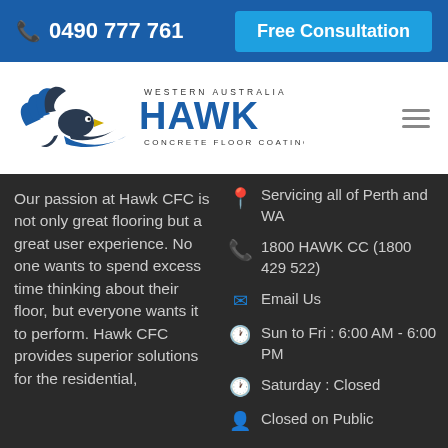📞 0490 777 761   Free Consultation
[Figure (logo): Hawk Concrete Floor Coatings logo with hawk bird graphic and text 'WESTERN AUSTRALIA HAWK CONCRETE FLOOR COATINGS']
Our passion at Hawk CFC is not only great flooring but a great user experience. No one wants to spend excess time thinking about their floor, but everyone wants it to perform. Hawk CFC provides superior solutions for the residential,
📍 Servicing all of Perth and WA
📞 1800 HAWK CC (1800 429 522)
✉ Email Us
🕐 Sun to Fri : 6:00 AM - 6:00 PM
🕐 Saturday : Closed
👤 Closed on Public